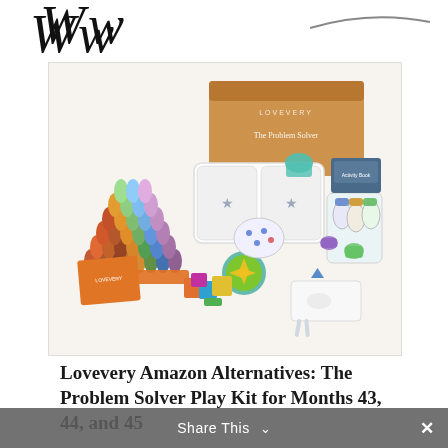Ww
[Figure (photo): Lovevery 'The Problem Solver' play kit box and its contents spread out, including colorful wooden pegs arranged in a pyramid, sorting tray, bottles, activity cards, blocks, and booklet on a white background.]
Lovevery Amazon Alternatives: The Problem Solver Play Kit for Months 43, 44, and 45
Share This